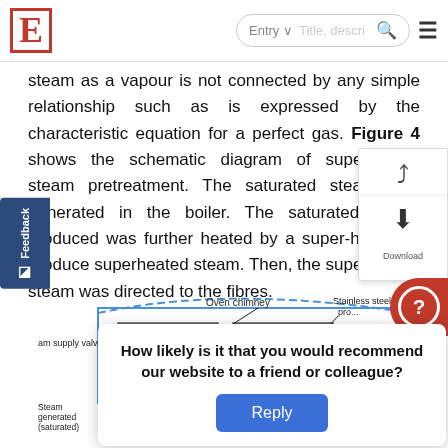E  Entry ∨  Title, descri...  🔍  ≡
steam as a vapour is not connected by any simple relationship such as is expressed by the characteristic equation for a perfect gas. Figure 4 shows the schematic diagram of superheated steam pretreatment. The saturated steam was generated in the boiler. The saturated steam produced was further heated by a super-heater to produce superheated steam. Then, the superheated steam was directed to the fibres.
[Figure (schematic): Schematic diagram of superheated steam pretreatment system showing oven chimney, steam supply valves, tubing (dashed blue lines), stainless steel processor, steam generator (saturated), boiler, and water supply from tap.]
How likely is it that you would recommend our website to a friend or colleague?
Reply